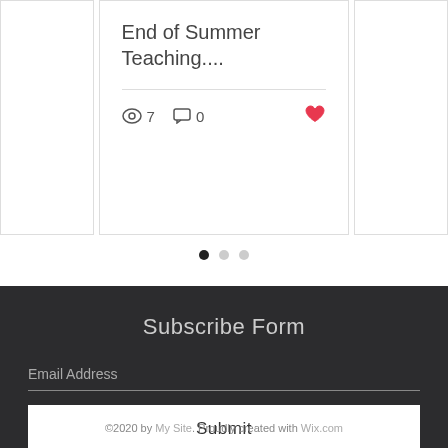[Figure (screenshot): Blog post card showing title 'End of Summer Teaching....' with a horizontal divider, then view count icon with 7, comment icon with 0, and a red heart/like icon]
[Figure (other): Pagination dots: one filled dark dot and two lighter grey dots]
Subscribe Form
Email Address
Submit
©2020 by My Site. Proudly created with Wix.com